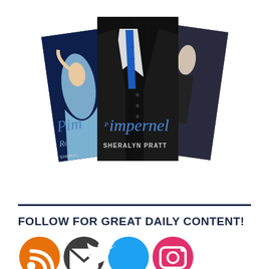[Figure (illustration): Three book covers from the Pimpernel series by Sheralyn Pratt, fanned out. The center cover shows a man in a dark pinstripe suit with a blue tie, titled 'Pimpernel' by Sheralyn Pratt. Left cover shows a woman in a blue gown partially visible. Right cover shows a partial cover with 'pernel' and 'reaker' text visible. All covers are dark/dramatic in style.]
FOLLOW FOR GREAT DAILY CONTENT!
[Figure (infographic): Four social media icons in circles: RSS feed (orange), Email/envelope (dark gray), Twitter (blue), Instagram (red)]